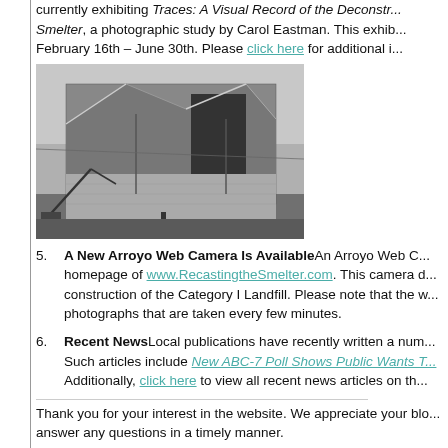currently exhibiting Traces: A Visual Record of the Deconstruction of the Smelter, a photographic study by Carol Eastman. This exhibit runs from February 16th – June 30th. Please click here for additional information.
[Figure (photo): Black and white photograph of an industrial smelter building being deconstructed. The large corrugated metal structure shows damage and demolition equipment is visible at the lower left.]
5. A New Arroyo Web Camera Is Available An Arroyo Web Camera is now available on the homepage of www.RecastingtheSmelter.com. This camera documents the ongoing construction of the Category I Landfill. Please note that the webcam posts still photographs that are taken every few minutes.
6. Recent News Local publications have recently written a number of relevant articles. Such articles include New ABC-7 Poll Shows Public Wants T... Additionally, click here to view all recent news articles on the website.
Thank you for your interest in the website. We appreciate your blog... answer any questions in a timely manner.